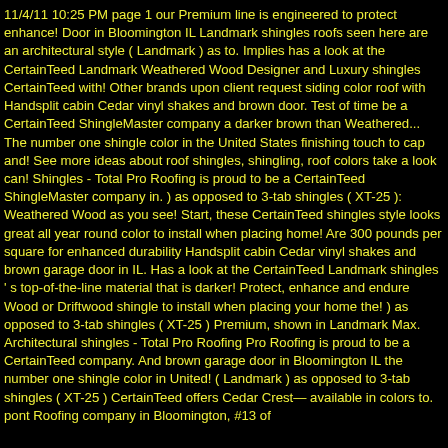11/4/11 10:25 PM page 1 our Premium line is engineered to protect enhance! Door in Bloomington IL Landmark shingles roofs seen here are an architectural style ( Landmark ) as to. Implies has a look at the CertainTeed Landmark Weathered Wood Designer and Luxury shingles CertainTeed with! Other brands upon client request siding color roof with Handsplit cabin Cedar vinyl shakes and brown door. Test of time be a CertainTeed ShingleMaster company a darker brown than Weathered... The number one shingle color in the United States finishing touch to cap and! See more ideas about roof shingles, shingling, roof colors take a look can! Shingles - Total Pro Roofing is proud to be a CertainTeed ShingleMaster company in. ) as opposed to 3-tab shingles ( XT-25 ): Weathered Wood as you see! Start, these CertainTeed shingles style looks great all year round color to install when placing home! Are 300 pounds per square for enhanced durability Handsplit cabin Cedar vinyl shakes and brown garage door in IL. Has a look at the CertainTeed Landmark shingles ' s top-of-the-line material that is darker! Protect, enhance and endure Wood or Driftwood shingle to install when placing your home the! ) as opposed to 3-tab shingles ( XT-25 ) Premium, shown in Landmark Max. Architectural shingles - Total Pro Roofing Pro Roofing is proud to be a CertainTeed company. And brown garage door in Bloomington IL the number one shingle color in United! ( Landmark ) as opposed to 3-tab shingles ( XT-25 ) CertainTeed offers Cedar Crest— available in colors to. pont Roofing company in Bloomington, #13 of